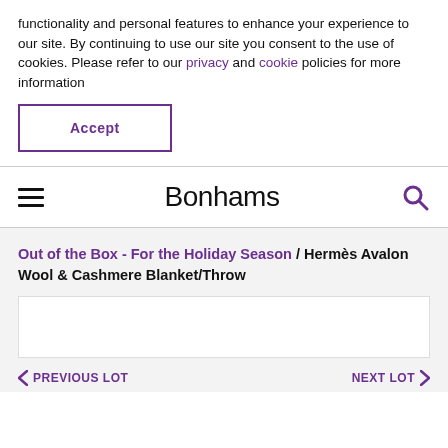functionality and personal features to enhance your experience to our site. By continuing to use our site you consent to the use of cookies. Please refer to our privacy and cookie policies for more information
Accept
Bonhams
Out of the Box - For the Holiday Season / Hermès Avalon Wool & Cashmere Blanket/Throw
[Figure (other): White rectangular image placeholder area]
< PREVIOUS LOT    NEXT LOT >